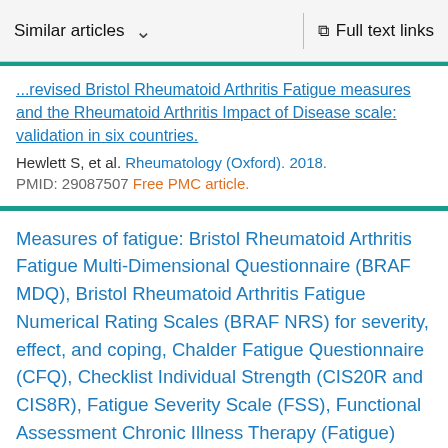Similar articles   ∨      Full text links
...revised Bristol Rheumatoid Arthritis Fatigue measures and the Rheumatoid Arthritis Impact of Disease scale: validation in six countries.
Hewlett S, et al. Rheumatology (Oxford). 2018.
PMID: 29087507 Free PMC article.
Measures of fatigue: Bristol Rheumatoid Arthritis Fatigue Multi-Dimensional Questionnaire (BRAF MDQ), Bristol Rheumatoid Arthritis Fatigue Numerical Rating Scales (BRAF NRS) for severity, effect, and coping, Chalder Fatigue Questionnaire (CFQ), Checklist Individual Strength (CIS20R and CIS8R), Fatigue Severity Scale (FSS), Functional Assessment Chronic Illness Therapy (Fatigue) (FACIT-F), Multi-Dimensional Assessment of Fatigue (MAF), Multi-Dimensional Fatigue Inventory (MFI)